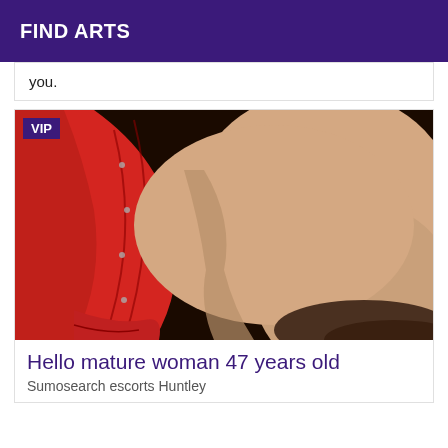FIND ARTS
you.
[Figure (photo): Close-up photo of a mature woman wearing a red lace corset/lingerie, with a VIP badge overlay in the top-left corner.]
Hello mature woman 47 years old
Sumosearch escorts Huntley